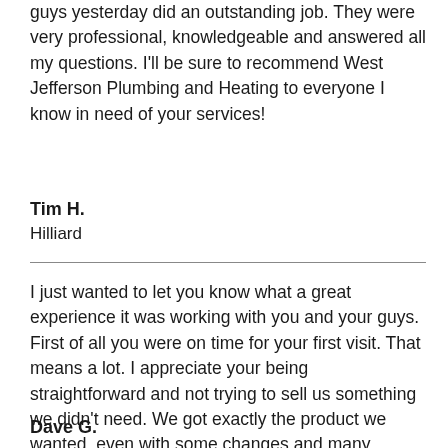guys yesterday did an outstanding job. They were very professional, knowledgeable and answered all my questions. I'll be sure to recommend West Jefferson Plumbing and Heating to everyone I know in need of your services!
Tim H.
Hilliard
I just wanted to let you know what a great experience it was working with you and your guys. First of all you were on time for your first visit. That means a lot. I appreciate your being straightforward and not trying to sell us something we didn't need. We got exactly the product we wanted, even with some changes and many questions from me.
Dave G.